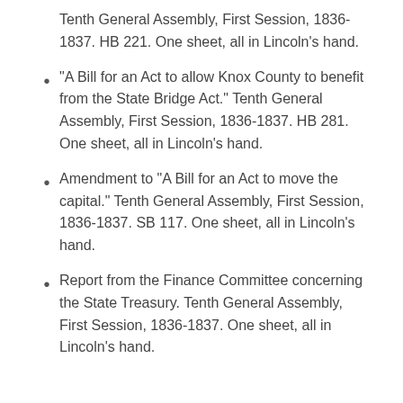Tenth General Assembly, First Session, 1836-1837. HB 221. One sheet, all in Lincoln's hand.
"A Bill for an Act to allow Knox County to benefit from the State Bridge Act." Tenth General Assembly, First Session, 1836-1837. HB 281. One sheet, all in Lincoln's hand.
Amendment to "A Bill for an Act to move the capital." Tenth General Assembly, First Session, 1836-1837. SB 117. One sheet, all in Lincoln's hand.
Report from the Finance Committee concerning the State Treasury. Tenth General Assembly, First Session, 1836-1837. One sheet, all in Lincoln's hand.